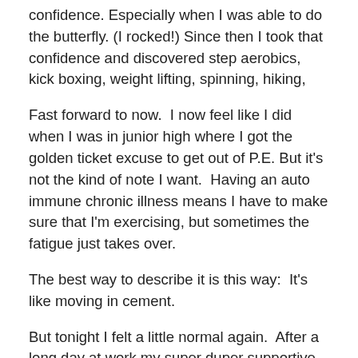confidence. Especially when I was able to do the butterfly. (I rocked!) Since then I took that confidence and discovered step aerobics, kick boxing, weight lifting, spinning, hiking,
Fast forward to now.  I now feel like I did when I was in junior high where I got the golden ticket excuse to get out of P.E. But it's not the kind of note I want.  Having an auto immune chronic illness means I have to make sure that I'm exercising, but sometimes the fatigue just takes over.
The best way to describe it is this way:  It's like moving in cement.
But tonight I felt a little normal again.  After a long day at work my super duper supportive husband went to the gym with me tonight and we attended our weight lifting class and then I stayed for the Zumba class.  I just love Zumba!